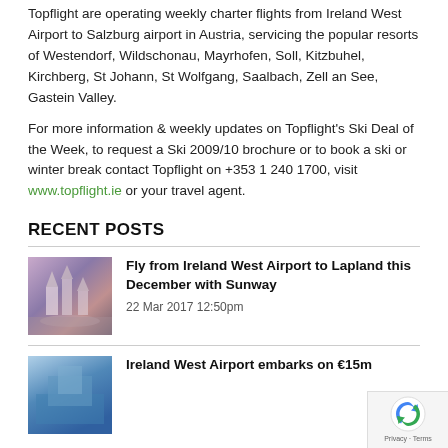Topflight are operating weekly charter flights from Ireland West Airport to Salzburg airport in Austria, servicing the popular resorts of Westendorf, Wildschonau, Mayrhofen, Soll, Kitzbuhel, Kirchberg, St Johann, St Wolfgang, Saalbach, Zell an See, Gastein Valley.
For more information & weekly updates on Topflight's Ski Deal of the Week, to request a Ski 2009/10 brochure or to book a ski or winter break contact Topflight on +353 1 240 1700, visit www.topflight.ie or your travel agent.
RECENT POSTS
Fly from Ireland West Airport to Lapland this December with Sunway
22 Mar 2017 12:50pm
Ireland West Airport embarks on €15m